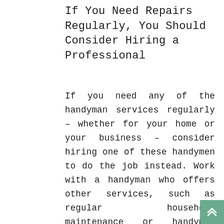If You Need Repairs Regularly, You Should Consider Hiring a Professional
If you need any of the handyman services regularly – whether for your home or your business – consider hiring one of these handymen to do the job instead. Work with a handyman who offers other services, such as regular household maintenance or handyman packages that include multiple services in one package. The handyman service you choose should be able to give you an idea of how much it'll cost for any repairs, including, consultation fees, and